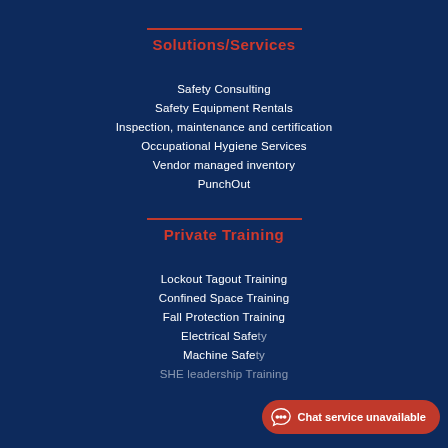Solutions/Services
Safety Consulting
Safety Equipment Rentals
Inspection, maintenance and certification
Occupational Hygiene Services
Vendor managed inventory
PunchOut
Private Training
Lockout Tagout Training
Confined Space Training
Fall Protection Training
Electrical Safety
Machine Safety
SHE leadership Training
Chat service unavailable